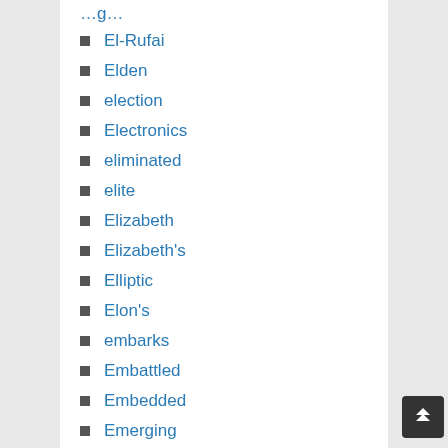El-Rufai
Elden
election
Electronics
eliminated
elite
Elizabeth
Elizabeth's
Elliptic
Elon's
embarks
Embattled
Embedded
Emerging